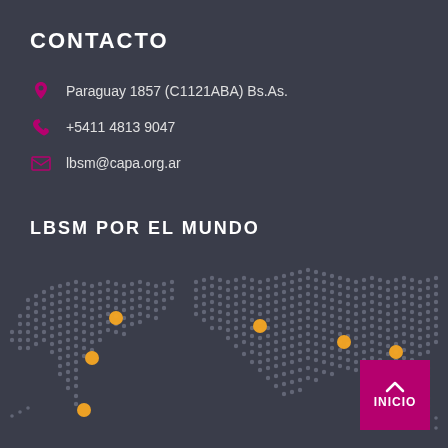CONTACTO
Paraguay 1857 (C1121ABA) Bs.As.
+5411 4813 9047
lbsm@capa.org.ar
LBSM POR EL MUNDO
[Figure (map): Dotted world map on dark background with yellow dots marking locations in South America (two dots), Europe/Africa (one dot), and Asia (two dots).]
INICIO